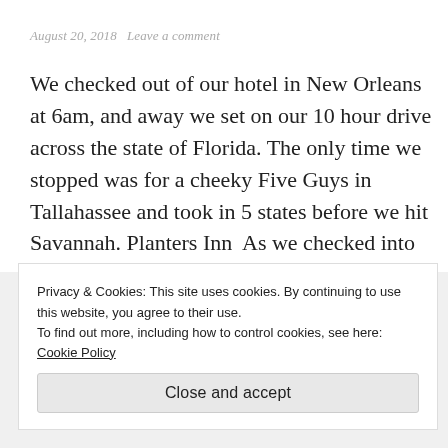August 20, 2018   Leave a comment
We checked out of our hotel in New Orleans at 6am, and away we set on our 10 hour drive across the state of Florida. The only time we stopped was for a cheeky Five Guys in Tallahassee and took in 5 states before we hit Savannah. Planters Inn  As we checked into our hotel … Continue reading
Privacy & Cookies: This site uses cookies. By continuing to use this website, you agree to their use.
To find out more, including how to control cookies, see here: Cookie Policy
Close and accept